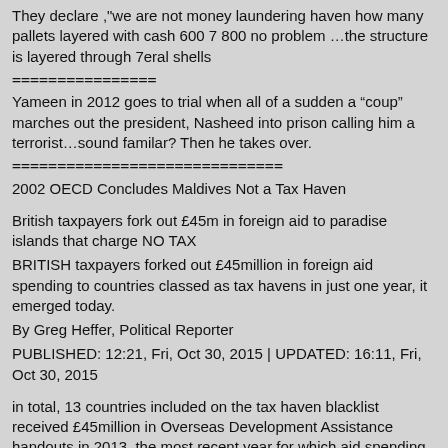They declare ,"we are not money laundering haven how many pallets layered with cash 600 7 800 no problem …the structure is layered through 7eral shells
================
Yameen in 2012 goes to trial when all of a sudden a “coup” marches out the president, Nasheed into prison calling him a terrorist…sound familar? Then he takes over.
==============================
2002 OECD Concludes Maldives Not a Tax Haven
British taxpayers fork out £45m in foreign aid to paradise islands that charge NO TAX
BRITISH taxpayers forked out £45million in foreign aid spending to countries classed as tax havens in just one year, it emerged today.
By Greg Heffer, Political Reporter
PUBLISHED: 12:21, Fri, Oct 30, 2015 | UPDATED: 16:11, Fri, Oct 30, 2015
in total, 13 countries included on the tax haven blacklist received £45million in Overseas Development Assistance handouts in 2013, the most recent year for which aid spending figures are available.
These nations are Anguilla, Antigua and Barbuda, Belize, Grenada,